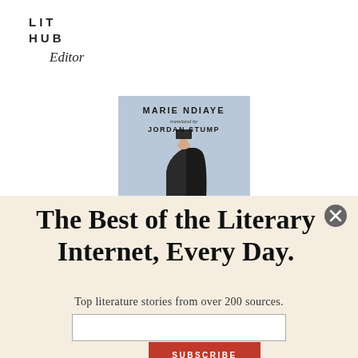LIT HUB
Editor
[Figure (illustration): Book cover showing 'MARIE NDIAYE translated by JORDAN STUMP' with an image of a person in black holding something above their face against a light blue background]
The Best of the Literary Internet, Every Day.
Top literature stories from over 200 sources.
SUBSCRIBE